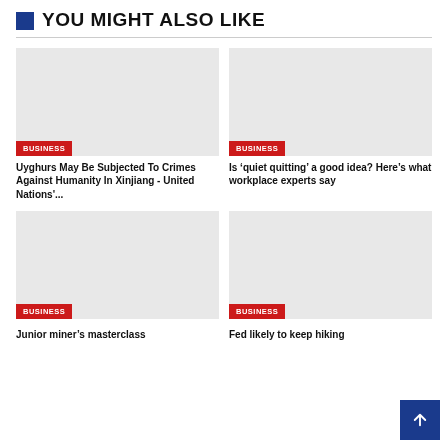YOU MIGHT ALSO LIKE
[Figure (photo): Gray placeholder image with BUSINESS badge]
Uyghurs May Be Subjected To Crimes Against Humanity In Xinjiang - United Nations'...
[Figure (photo): Gray placeholder image with BUSINESS badge]
Is ‘quiet quitting’ a good idea? Here’s what workplace experts say
[Figure (photo): Gray placeholder image with BUSINESS badge]
Junior miner’s masterclass
[Figure (photo): Gray placeholder image with BUSINESS badge]
Fed likely to keep hiking